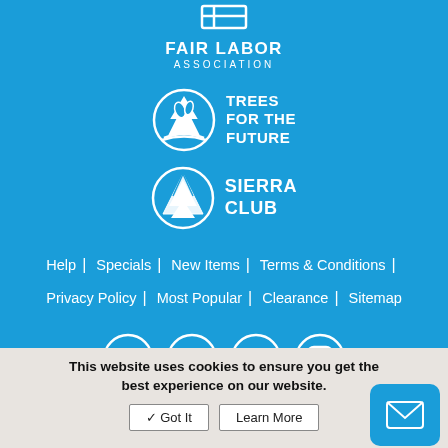[Figure (logo): Fair Labor Association logo with text FAIR LABOR ASSOCIATION]
[Figure (logo): Trees for the Future logo with circle icon and text TREES FOR THE FUTURE]
[Figure (logo): Sierra Club logo with circle tree icon and text SIERRA CLUB]
Help | Specials | New Items | Terms & Conditions | Privacy Policy | Most Popular | Clearance | Sitemap
[Figure (illustration): Social media icons: Facebook, Twitter, YouTube, Instagram]
This website uses cookies to ensure you get the best experience on our website.
✓ Got It   Learn More